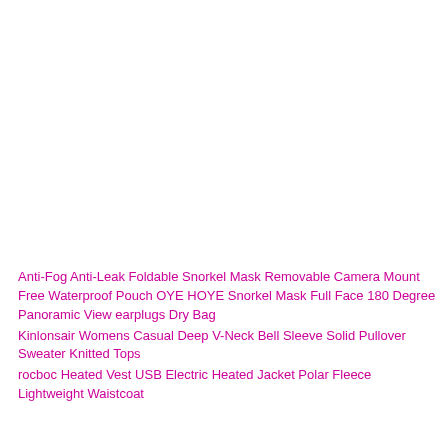Anti-Fog Anti-Leak Foldable Snorkel Mask Removable Camera Mount Free Waterproof Pouch OYE HOYE Snorkel Mask Full Face 180 Degree Panoramic View earplugs Dry Bag
Kinlonsair Womens Casual Deep V-Neck Bell Sleeve Solid Pullover Sweater Knitted Tops
rocboc Heated Vest USB Electric Heated Jacket Polar Fleece Lightweight Waistcoat